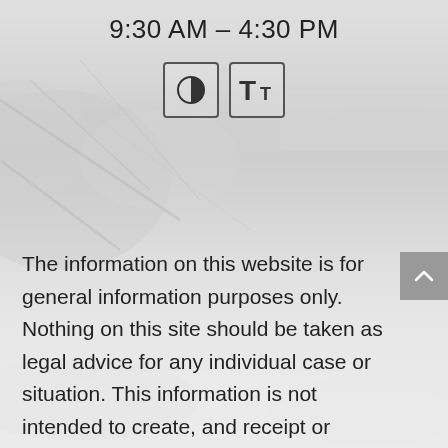9:30 AM – 4:30 PM
[Figure (other): Two UI icon buttons: a contrast/accessibility icon (half-filled circle) and a text size icon (T with smaller T)]
[Figure (photo): Snowy winter landscape background with frosted tree branches and a misty, light grey-white scene]
The information on this website is for general information purposes only. Nothing on this site should be taken as legal advice for any individual case or situation. This information is not intended to create, and receipt or viewing does not constitute, an attorney-client relationship.